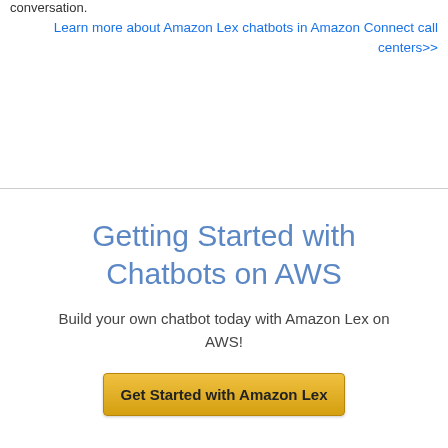conversation.
Learn more about Amazon Lex chatbots in Amazon Connect call centers>>
Getting Started with Chatbots on AWS
Build your own chatbot today with Amazon Lex on AWS!
Get Started with Amazon Lex